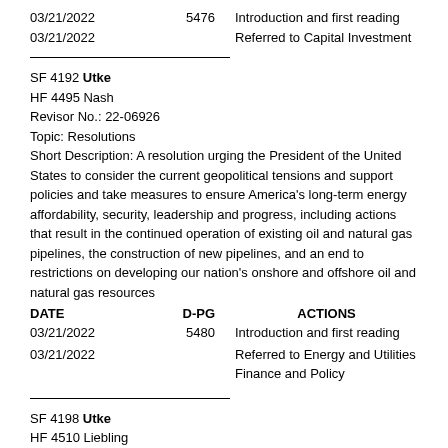03/21/2022   5476   Introduction and first reading
03/21/2022          Referred to Capital Investment
SF 4192 Utke
HF 4495 Nash
Revisor No.: 22-06926
Topic: Resolutions
Short Description: A resolution urging the President of the United States to consider the current geopolitical tensions and support policies and take measures to ensure America's long-term energy affordability, security, leadership and progress, including actions that result in the continued operation of existing oil and natural gas pipelines, the construction of new pipelines, and an end to restrictions on developing our nation's onshore and offshore oil and natural gas resources
| DATE | D-PG | ACTIONS |
| --- | --- | --- |
| 03/21/2022 | 5480 | Introduction and first reading |
| 03/21/2022 |  | Referred to Energy and Utilities Finance and Policy |
SF 4198 Utke
HF 4510 Liebling
Revisor No.: 22-07179